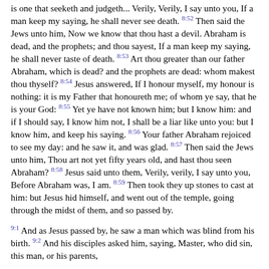is one that seeketh and judgeth... Verily, Verily, I say unto you, If a man keep my saying, he shall never see death. 8:52 Then said the Jews unto him, Now we know that thou hast a devil. Abraham is dead, and the prophets; and thou sayest, If a man keep my saying, he shall never taste of death. 8:53 Art thou greater than our father Abraham, which is dead? and the prophets are dead: whom makest thou thyself? 8:54 Jesus answered, If I honour myself, my honour is nothing: it is my Father that honoureth me; of whom ye say, that he is your God: 8:55 Yet ye have not known him; but I know him: and if I should say, I know him not, I shall be a liar like unto you: but I know him, and keep his saying. 8:56 Your father Abraham rejoiced to see my day: and he saw it, and was glad. 8:57 Then said the Jews unto him, Thou art not yet fifty years old, and hast thou seen Abraham? 8:58 Jesus said unto them, Verily, verily, I say unto you, Before Abraham was, I am. 8:59 Then took they up stones to cast at him: but Jesus hid himself, and went out of the temple, going through the midst of them, and so passed by.
9:1 And as Jesus passed by, he saw a man which was blind from his birth. 9:2 And his disciples asked him, saying, Master, who did sin, this man, or his parents,